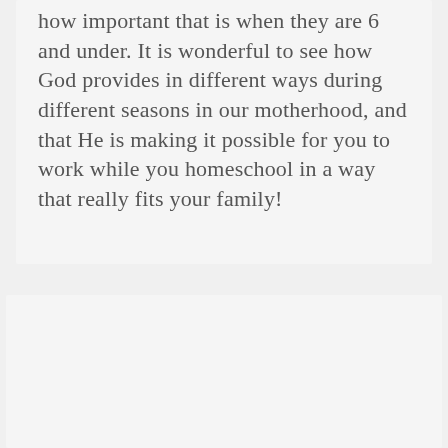how important that is when they are 6 and under. It is wonderful to see how God provides in different ways during different seasons in our motherhood, and that He is making it possible for you to work while you homeschool in a way that really fits your family!